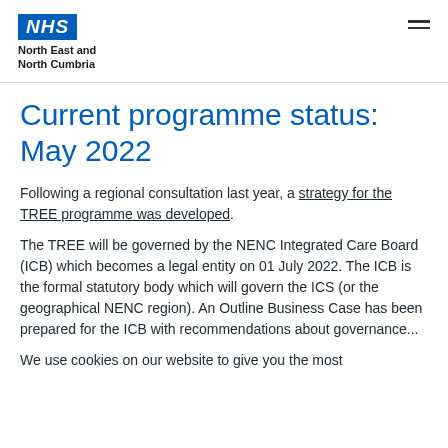[Figure (logo): NHS logo with blue box containing 'NHS' text in white italic bold, and below it 'North East and North Cumbria' organisation name in black bold]
Current programme status: May 2022
Following a regional consultation last year, a strategy for the TREE programme was developed.
The TREE will be governed by the NENC Integrated Care Board (ICB) which becomes a legal entity on 01 July 2022. The ICB is the formal statutory body which will govern the ICS (or the geographical NENC region). An Outline Business Case has been prepared for the ICB with recommendations about governance...
We use cookies on our website to give you the most